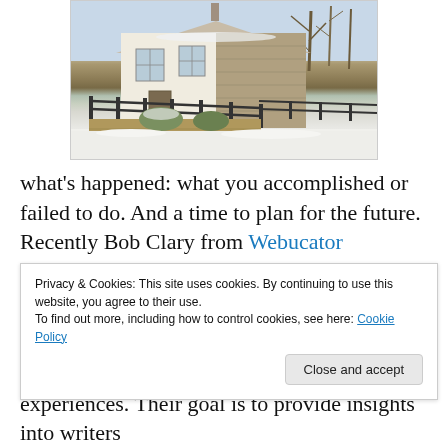[Figure (photo): A snow-covered English cottage or farmhouse exterior with stone wall sections, black wooden fence, bare trees in winter, dusting of snow on ground and surfaces.]
what's happened: what you accomplished or failed to do. And a time to plan for the future. Recently Bob Clary from Webucator contacted me. During November and December the organisation has been asking authors to share their thoughts on novel writing and their writing
Privacy & Cookies: This site uses cookies. By continuing to use this website, you agree to their use.
To find out more, including how to control cookies, see here: Cookie Policy
Close and accept
experiences. Their goal is to provide insights into writers